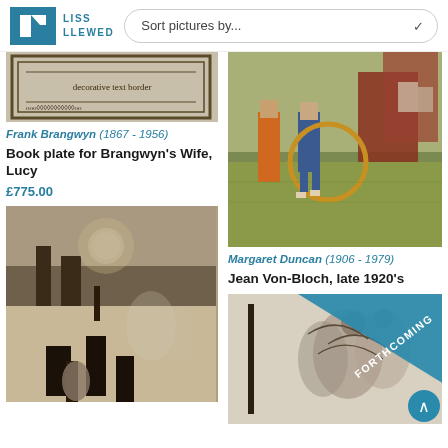LISS LLEWED — Sort pictures by...
[Figure (photo): Partial view of a decorative book plate with ornate border by Frank Brangwyn]
Frank Brangwyn (1867 - 1956)
Book plate for Brangwyn's Wife, Lucy
£775.00
[Figure (photo): Painting of a child playing with a hula hoop, figures in background with houses, by Margaret Duncan]
Margaret Duncan (1906 - 1979)
Jean Von-Bloch, late 1920's
[Figure (photo): Dark atmospheric painting with moonlit scene, figures and gothic architecture]
[Figure (photo): Artwork with FORTHCOMING diagonal ribbon banner overlay, showing detailed figurative artwork]